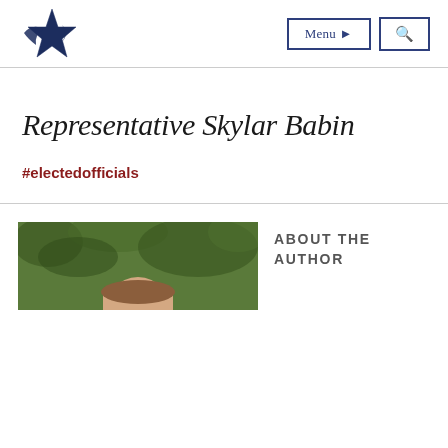Representative Skylar Babin - [site logo with navigation buttons: Menu, Search]
Representative Skylar Babin
#electedofficials
[Figure (photo): Partial photo of a person outdoors with greenery background, partially visible at bottom of page]
ABOUT THE AUTHOR